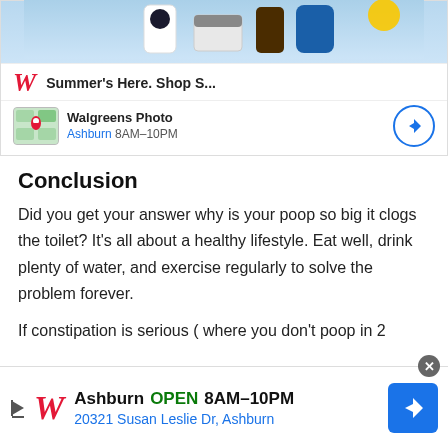[Figure (screenshot): Walgreens advertisement banner showing summer products, Walgreens logo with 'Summer's Here. Shop S...' headline, and Ashburn store location with hours 8AM-10PM and navigation icon]
Conclusion
Did you get your answer why is your poop so big it clogs the toilet? It's all about a healthy lifestyle. Eat well, drink plenty of water, and exercise regularly to solve the problem forever.
If constipation is serious ( where you don't poop in 2
[Figure (screenshot): Walgreens bottom sticky ad: Ashburn OPEN 8AM-10PM, 20321 Susan Leslie Dr, Ashburn, with Walgreens logo and navigation arrow button]